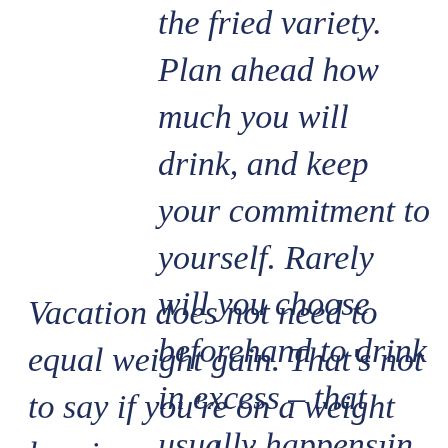the fried variety. Plan ahead how much you will drink, and keep your commitment to yourself. Rarely will you choose beforehand to drink in excess – that usually happens in the moment.
Vacation does not need to equal weight gain. That's not to say if you're on a weight loss journey that you need to be focused on losing during vacation. Decide on your